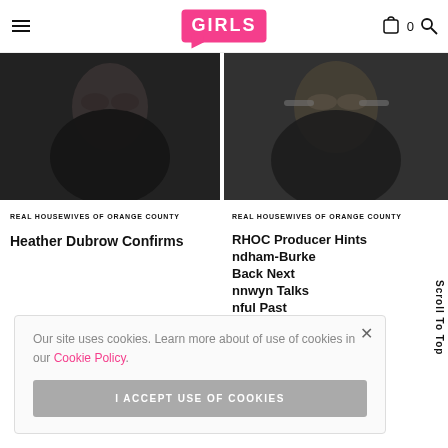GIRLS (logo) | hamburger menu | cart 0 | search
[Figure (photo): Blurred dark portrait of a woman, left article thumbnail]
[Figure (photo): Blurred portrait of a woman with glasses, right article thumbnail]
REAL HOUSEWIVES OF ORANGE COUNTY
Heather Dubrow Confirms
REAL HOUSEWIVES OF ORANGE COUNTY
RHOC Producer Hints ndham-Burke Back Next nnwyn Talks nful Past
Our site uses cookies. Learn more about of use of cookies in our Cookie Policy.
I ACCEPT USE OF COOKIES
Scroll To Top